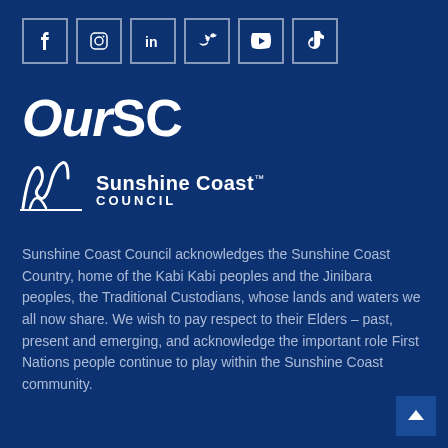[Figure (infographic): Row of 6 social media icon boxes: Facebook, Instagram, LinkedIn, Twitter/X, YouTube, TikTok]
[Figure (logo): OurSC logo in large bold italic white text]
[Figure (logo): Sunshine Coast Council logo with wave graphic and text 'Sunshine Coast COUNCIL']
Sunshine Coast Council acknowledges the Sunshine Coast Country, home of the Kabi Kabi peoples and the Jinibara peoples, the Traditional Custodians, whose lands and waters we all now share. We wish to pay respect to their Elders – past, present and emerging, and acknowledge the important role First Nations people continue to play within the Sunshine Coast community.